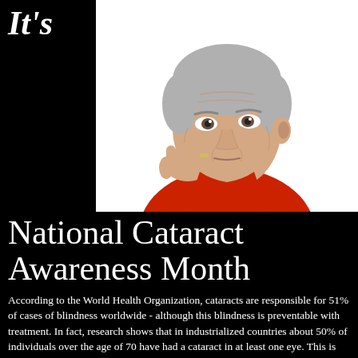It's
[Figure (photo): Elderly man with gray hair resting his chin on his hand, wearing a red sweater, on a white background]
National Cataract Awareness Month
According to the World Health Organization, cataracts are responsible for 51% of cases of blindness worldwide - although this blindness is preventable with treatment. In fact, research shows that in industrialized countries about 50% of individuals over the age of 70 have had a cataract in at least one eye. This is partially because cataracts are a natural part of the aging process of the eye, so as people in general live longer, the incidence of cataracts continues to rise.